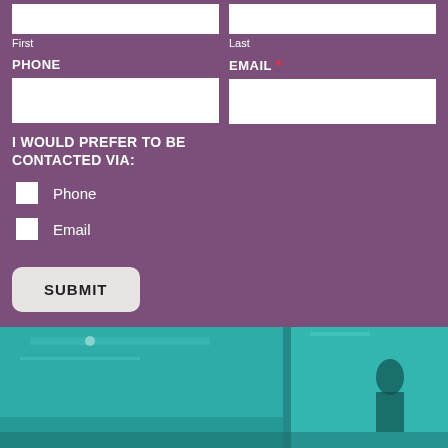First
Last
PHONE
EMAIL *
I WOULD PREFER TO BE CONTACTED VIA:
Phone
Email
SUBMIT
[Figure (photo): Teal-tinted photo of an interior space, split into two panels]